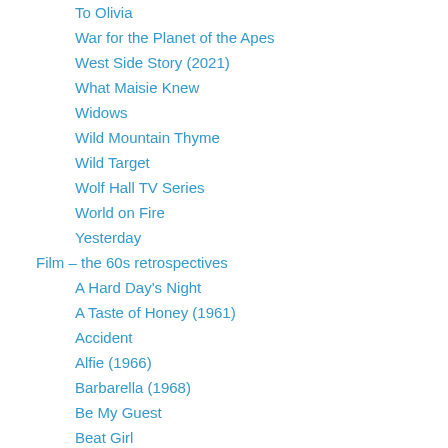To Olivia
War for the Planet of the Apes
West Side Story (2021)
What Maisie Knew
Widows
Wild Mountain Thyme
Wild Target
Wolf Hall TV Series
World on Fire
Yesterday
Film – the 60s retrospectives
A Hard Day's Night
A Taste of Honey (1961)
Accident
Alfie (1966)
Barbarella (1968)
Be My Guest
Beat Girl
Blow-up
Bonnie and Clyde